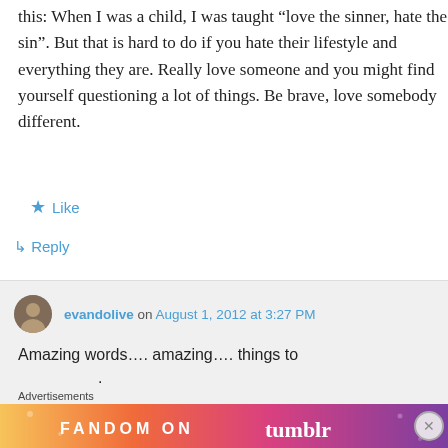this: When I was a child, I was taught “love the sinner, hate the sin”. But that is hard to do if you hate their lifestyle and everything they are. Really love someone and you might find yourself questioning a lot of things. Be brave, love somebody different.
★ Like
↳ Reply
evandolive on August 1, 2012 at 3:27 PM
Amazing words…. amazing…. things to .
Advertisements
[Figure (other): Fandom on Tumblr advertisement banner with colorful gradient background]